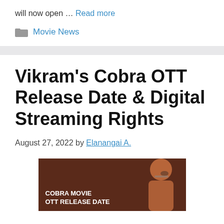will now open … Read more
Movie News
Vikram's Cobra OTT Release Date & Digital Streaming Rights
August 27, 2022 by Elanangai A.
[Figure (photo): Movie promotional image with brown background showing a person's face partially visible on the right side, text overlay reads COBRA MOVIE OTT RELEASE DATE]